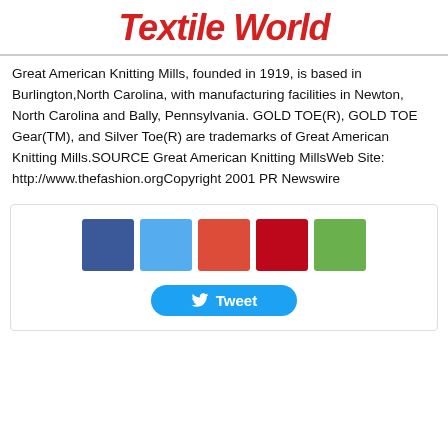Textile World
Great American Knitting Mills, founded in 1919, is based in Burlington,North Carolina, with manufacturing facilities in Newton, North Carolina and Bally, Pennsylvania. GOLD TOE(R), GOLD TOE Gear(TM), and Silver Toe(R) are trademarks of Great American Knitting Mills.SOURCE Great American Knitting MillsWeb Site: http://www.thefashion.orgCopyright 2001 PR Newswire
[Figure (infographic): Social sharing buttons: Facebook (blue), Twitter (light blue), Google+ (orange-red), Pinterest (red), and a green button. Below them a Tweet button with Twitter bird icon.]